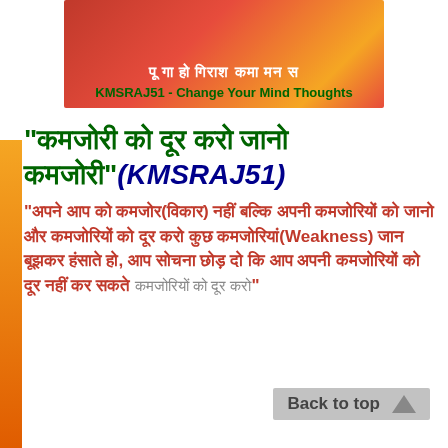[Figure (illustration): Red gradient banner with Hindi text and green tagline 'KMSRAJ51 - Change Your Mind Thoughts']
“कमजोरी को दूर करो जानो”(KMSRAJ51)
“अपने आप को कमजोर(विकार) नहीं बल्कि अपनी कमजोरियों को जानो और कमजोरियों को दूर करो कुछ कमजोरियां(Weakness) जान बूझकर हंसाते हो, आप सोचना छोड़ दो कि आप अपनी कमजोरियों को दूर नहीं कर सकते”